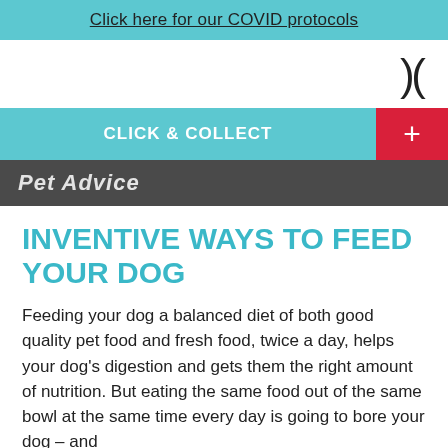Click here for our COVID protocols
[Figure (logo): Logo area with parenthesis-style symbol in top right]
CLICK & COLLECT
Pet Advice
INVENTIVE WAYS TO FEED YOUR DOG
Feeding your dog a balanced diet of both good quality pet food and fresh food, twice a day, helps your dog's digestion and gets them the right amount of nutrition. But eating the same food out of the same bowl at the same time every day is going to bore your dog – and